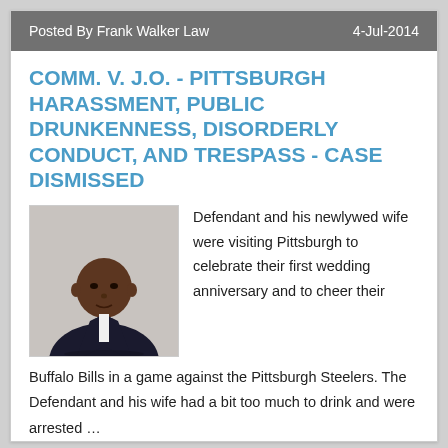Posted By Frank Walker Law    4-Jul-2014
COMM. V. J.O. - PITTSBURGH HARASSMENT, PUBLIC DRUNKENNESS, DISORDERLY CONDUCT, AND TRESPASS - CASE DISMISSED
[Figure (photo): Professional headshot of a man in a dark suit and tie against a light background]
Defendant and his newlywed wife were visiting Pittsburgh to celebrate their first wedding anniversary and to cheer their Buffalo Bills in a game against the Pittsburgh Steelers. The Defendant and his wife had a bit too much to drink and were arrested …